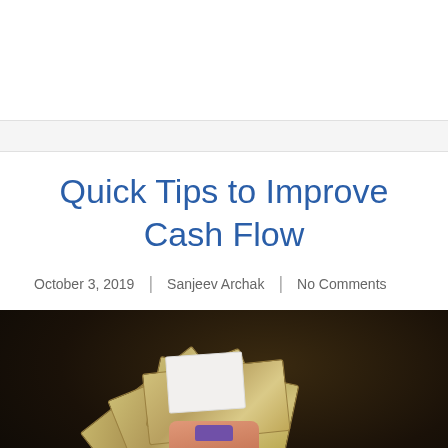Quick Tips to Improve Cash Flow
October 3, 2019 | Sanjeev Archak | No Comments
[Figure (photo): A hand holding fanned-out currency notes (Indian rupees) against a dark background, with a small white card/note visible among the bills]